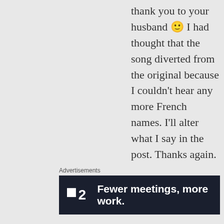thank you to your husband 🙂 I had thought that the song diverted from the original because I couldn't hear any more French names. I'll alter what I say in the post. Thanks again.
★ Like
↳ Reply
Advertisements
[Figure (other): Advertisement banner for a product with logo showing a square icon and '2', with text 'Fewer meetings, more work.' on a dark navy/black background.]